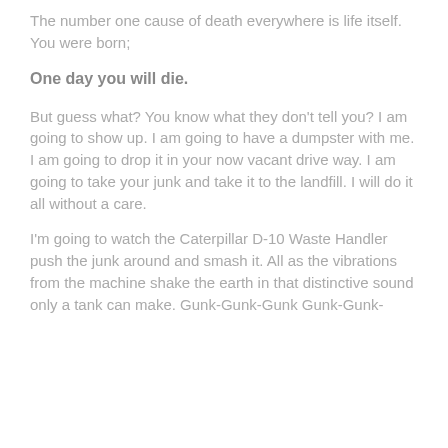The number one cause of death everywhere is life itself. You were born;
One day you will die.
But guess what? You know what they don't tell you? I am going to show up. I am going to have a dumpster with me. I am going to drop it in your now vacant drive way. I am going to take your junk and take it to the landfill. I will do it all without a care.
I'm going to watch the Caterpillar D-10 Waste Handler push the junk around and smash it. All as the vibrations from the machine shake the earth in that distinctive sound only a tank can make. Gunk-Gunk-Gunk Gunk-Gunk-